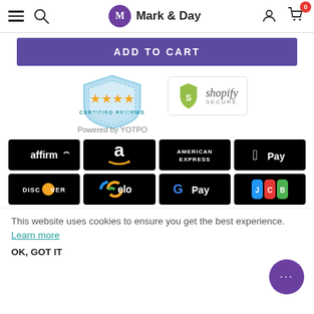Mark & Day — navigation header with hamburger, search, logo, user, cart (0)
ADD TO CART
[Figure (logo): Yotpo certified reviews badge with 4 gold stars and Shopify Secure badge]
Powered by YOTPO
[Figure (infographic): Payment method icons grid: Affirm, Amazon Pay, American Express, Apple Pay, Discover, Elo, Google Pay, JCB]
This website uses cookies to ensure you get the best experience. Learn more
OK, GOT IT